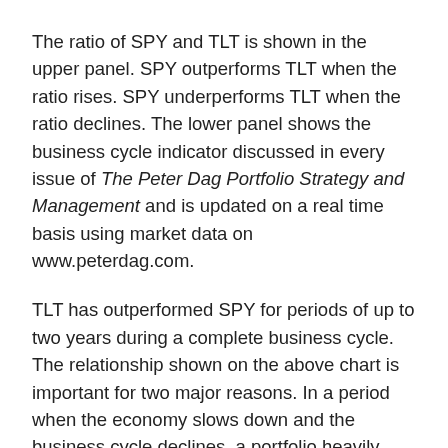The ratio of SPY and TLT is shown in the upper panel. SPY outperforms TLT when the ratio rises. SPY underperforms TLT when the ratio declines. The lower panel shows the business cycle indicator discussed in every issue of The Peter Dag Portfolio Strategy and Management and is updated on a real time basis using market data on www.peterdag.com.
TLT has outperformed SPY for periods of up to two years during a complete business cycle. The relationship shown on the above chart is important for two major reasons. In a period when the economy slows down and the business cycle declines, a portfolio heavily exposed to long-term bonds such as TLT is likely to outperform SPY.
The second major advantage in overweighing bonds during a decline in the business cycle is its hedging